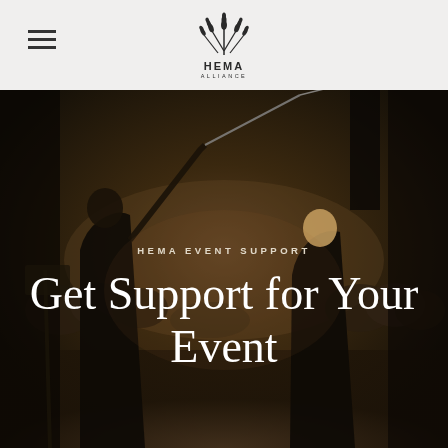[Figure (logo): HEMA Alliance logo with stylized wheat/grain icon above text 'HEMA ALLIANCE']
[Figure (photo): Two people sparring with longswords/rapiers in a dimly lit room with an audience watching in the background]
HEMA EVENT SUPPORT
Get Support for Your Event